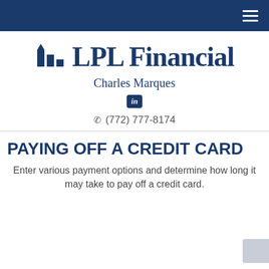[Figure (logo): LPL Financial logo with stylized arrow icon and text 'LPL Financial']
Charles Marques
[Figure (logo): LinkedIn 'in' badge icon]
(772) 777-8174
PAYING OFF A CREDIT CARD
Enter various payment options and determine how long it may take to pay off a credit card.